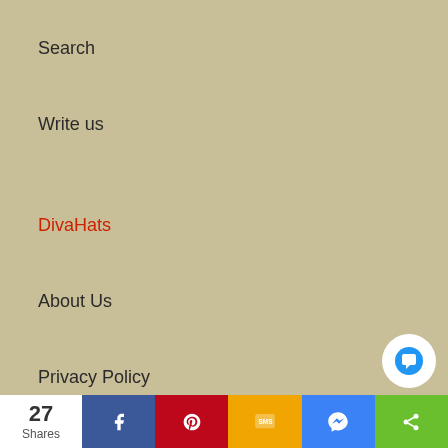Search
Write us
DivaHats
About Us
Privacy Policy
Shipping policy
Exchanges&Returns policy
27 Shares | Facebook | Pinterest | SMS | Messenger | Share